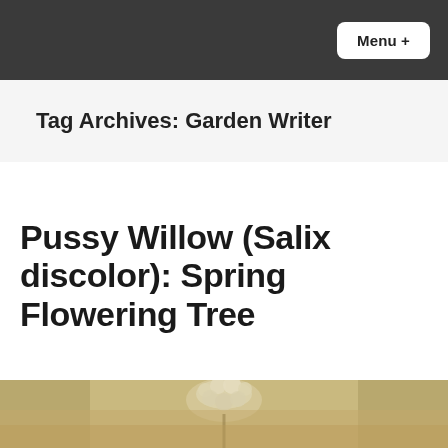Menu +
Tag Archives: Garden Writer
Pussy Willow (Salix discolor): Spring Flowering Tree
[Figure (photo): Close-up photo of a pussy willow (Salix discolor) catkin with fuzzy silvery buds, with a blurred beige/tan background]